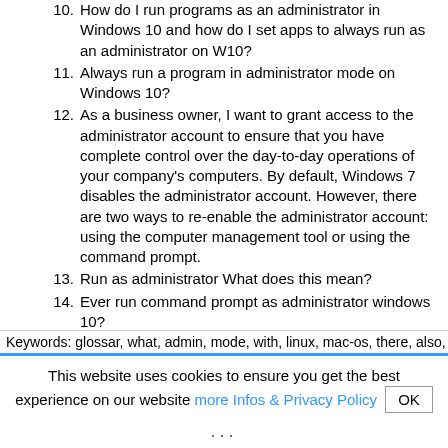10. How do I run programs as an administrator in Windows 10 and how do I set apps to always run as an administrator on W10?
11. Always run a program in administrator mode on Windows 10?
12. As a business owner, I want to grant access to the administrator account to ensure that you have complete control over the day-to-day operations of your company’s computers. By default, Windows 7 disables the administrator account. However, there are two ways to re-enable the administrator account: using the computer management tool or using the command prompt.
13. Run as administrator What does this mean?
14. Ever run command prompt as administrator windows 10?
15. Trying to run an application as an administrator is one of the changes that requires administrator privileges.
16. Windows 10: enable / disable administrator account?
17. Run as administrator shortcut?
18. Windows 10 running as administrator missing?
19. How do you run Windows 7 as an administrator?
20. Download as administrator?
21. The easy way to run a program as an administrator in Windows 10 is to find the app you want to open and search for Windows 10.
22. Disable windows 10 as administrator?
23. Add User Account Control or User Account Control, a security feature that prevents unauthorized changes to the operating system.
Keywords: glossar, what, admin, mode, with, linux, mac-os, there, also, so-
This website uses cookies to ensure you get the best experience on our website more Infos & Privacy Policy OK
...